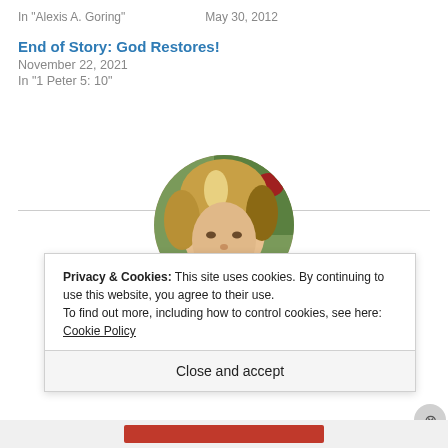In "Alexis A. Goring"    May 30, 2012
End of Story: God Restores!
November 22, 2021
In "1 Peter 5: 10"
[Figure (photo): Circular portrait photo of a woman with short blonde/brown hair, smiling, with a garden background]
Privacy & Cookies: This site uses cookies. By continuing to use this website, you agree to their use.
To find out more, including how to control cookies, see here: Cookie Policy
Close and accept